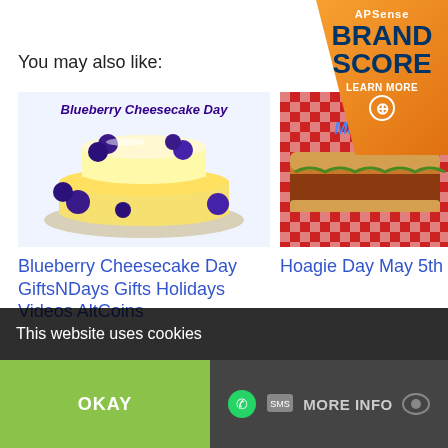[Figure (logo): APSense Brand Score badge - orange triangle badge in top right corner with text APSense, BRAND SCORE, LEARN MORE]
You may also like:
[Figure (illustration): Blueberry Cheesecake Day illustration - yellow cheesecake with blueberries on a plate, text 'Blueberry Cheesecake Day' at top in purple]
[Figure (photo): Hoagie Day May 5th - photo of sandwiches on red checkered tablecloth with 'May 5th' text overlay]
Blueberry Cheesecake Day GiftsNDays Gifts Holidays Videos AltCoins
Hoagie Day May 5th
[Figure (illustration): Hamburger Day May 28th - orange/coral background with text 'Hamburger Day', 'May 28th', 'Hamburger Month']
[Figure (photo): National Flag Day - American flag waving on white background]
This website uses cookies
OKAY
MORE INFO